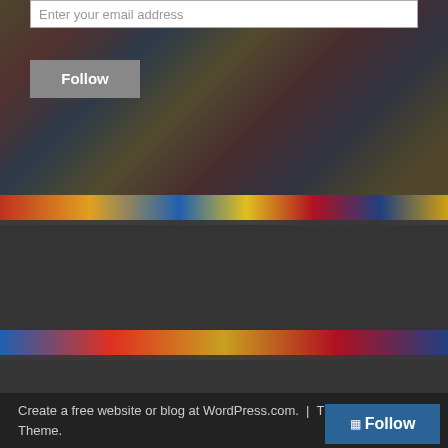Enter your email address
Follow
READ MORE BAG & BORED:
Select Month
CATEGORIES:
Select Category
Create a free website or blog at WordPress.com.  |  The Visual Theme.